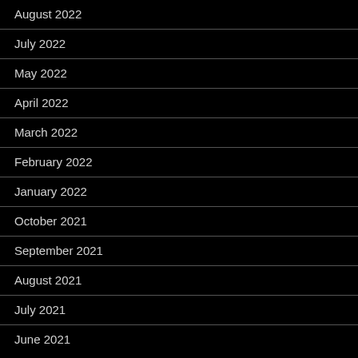August 2022
July 2022
May 2022
April 2022
March 2022
February 2022
January 2022
October 2021
September 2021
August 2021
July 2021
June 2021